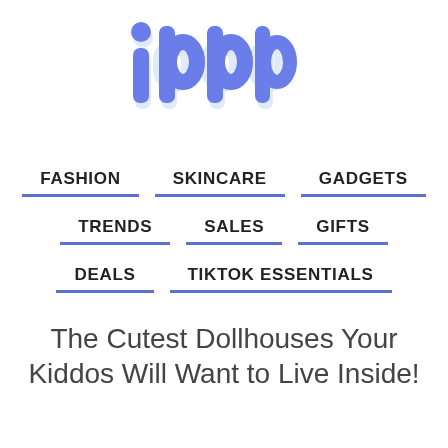[Figure (logo): ibbb logo with stylized lowercase letters in blue/periwinkle with shadow effect]
FASHION
SKINCARE
GADGETS
TRENDS
SALES
GIFTS
DEALS
TIKTOK ESSENTIALS
The Cutest Dollhouses Your Kiddos Will Want to Live Inside!